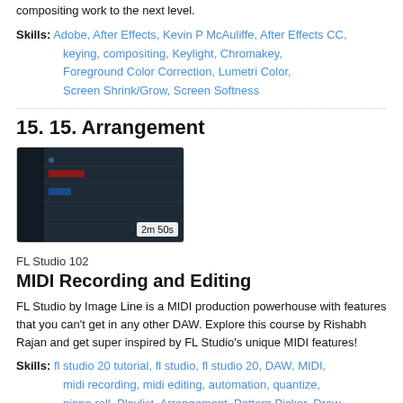compositing work to the next level.
Skills: Adobe, After Effects, Kevin P McAuliffe, After Effects CC, keying, compositing, Keylight, Chromakey, Foreground Color Correction, Lumetri Color, Screen Shrink/Grow, Screen Softness
15. 15. Arrangement
[Figure (screenshot): Thumbnail of FL Studio 102 MIDI Recording and Editing course showing dark DAW interface, duration badge 2m 50s]
FL Studio 102
MIDI Recording and Editing
FL Studio by Image Line is a MIDI production powerhouse with features that you can't get in any other DAW. Explore this course by Rishabh Rajan and get super inspired by FL Studio's unique MIDI features!
Skills: fl studio 20 tutorial, fl studio, fl studio 20, DAW, MIDI, midi recording, midi editing, automation, quantize, piano roll, Playlist, Arrangement, Pattern Picker, Draw, Edit